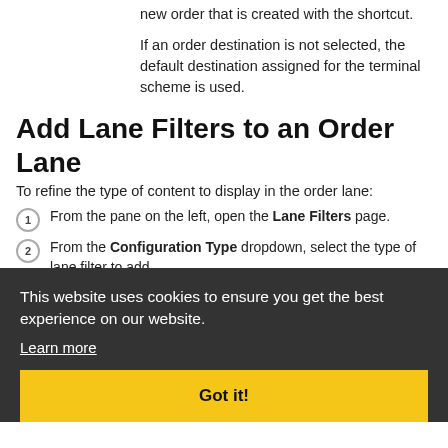new order that is created with the shortcut.
If an order destination is not selected, the default destination assigned for the terminal scheme is used.
Add Lane Filters to an Order Lane
To refine the type of content to display in the order lane:
1. From the pane on the left, open the Lane Filters page.
2. From the Configuration Type dropdown, select the type of lane filter to add.
Basic - Define simple order filters.
Advanced - Define complex order filters.
Basic Configuration
This website uses cookies to ensure you get the best experience on our website. Learn more [cookie banner with Got it! button]